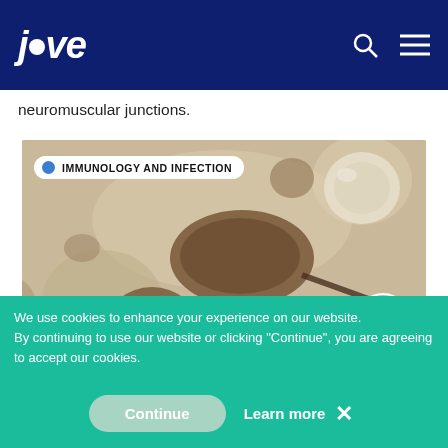jove
neuromuscular junctions.
[Figure (photo): Microscopy image showing lymph node cells or biological tissue with circular/oval dark brown structures on a beige background. A white badge overlay reads 'IMMUNOLOGY AND INFECTION' with a blue dot. A play button circle is visible in the bottom right corner.]
Generation of Lymph Node-fat Pad
We use cookies to enhance your experience on our website. By continuing to use our website or clicking “Continue”, you are agreeing to accept our cookies.